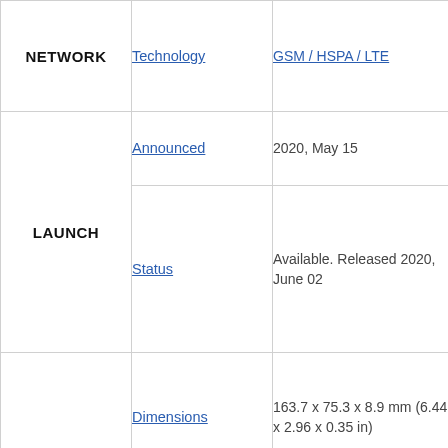| Category | Field | Value |
| --- | --- | --- |
| NETWORK | Technology | GSM / HSPA / LTE |
| LAUNCH | Announced | 2020, May 15 |
| LAUNCH | Status | Available. Released 2020, June 02 |
| BODY | Dimensions | 163.7 x 75.3 x 8.9 mm (6.44 x 2.96 x 0.35 in) |
| BODY | Weight | 192 g (6.77 oz) |
| BODY | Build | Glass front, plastic frame, |